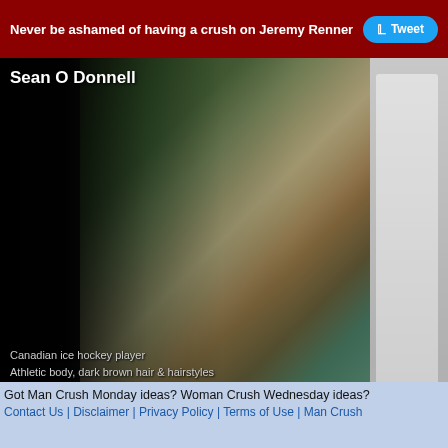Never be ashamed of having a crush on Jeremy Renner  Tweet
[Figure (photo): Sean O Donnell - two muscular shirtless men near water. Text overlay: 'Canadian ice hockey player / Athletic body, dark brown hair & hairstyles']
[Figure (photo): Jim Davidson - American actor wearing glasses, grey suit and purple tie, smiling on a show set with red and white striped background. Text overlay: 'American actor / Athletic body, light brown eyes, light brown hair & hairstyles']
Got Man Crush Monday ideas? Woman Crush Wednesday ideas? Contact Us | Disclaimer | Privacy Policy | Terms of Use | Man Crush